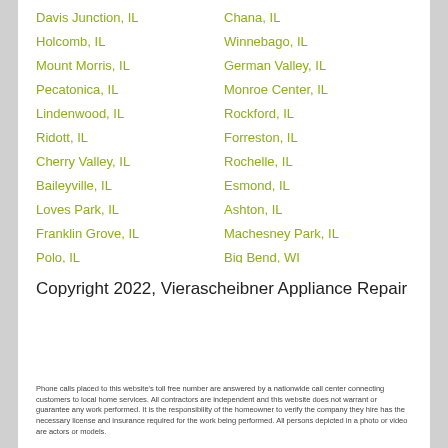Davis Junction, IL
Holcomb, IL
Mount Morris, IL
Pecatonica, IL
Lindenwood, IL
Ridott, IL
Cherry Valley, IL
Baileyville, IL
Loves Park, IL
Franklin Grove, IL
Polo, IL
Maywood, IL
Camp Grove, IL
Chana, IL
Winnebago, IL
German Valley, IL
Monroe Center, IL
Rockford, IL
Forreston, IL
Rochelle, IL
Esmond, IL
Ashton, IL
Machesney Park, IL
Big Bend, WI
Kieler, WI
Linden, WI
Copyright 2022, Vierascheibner Appliance Repair
Phone calls placed to this website's toll free number are answered by a nationwide call center connecting customers to local home services. All contractors are independent and this website does not warrant or guarantee any work performed. It is the responsibility of the homeowner to verify the company they hire has the necessary license and insurance required for the work being performed. All persons depicted in a photo or video are actors or models.